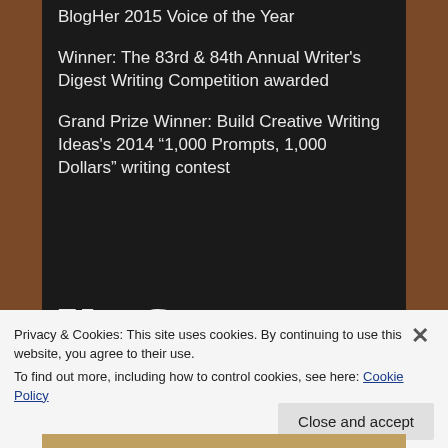BlogHer 2015 Voice of the Year
Winner: The 83rd & 84th Annual Writer's Digest Writing Competition awarded
Grand Prize Winner: Build Creative Writing Ideas's 2014 “1,000 Prompts, 1,000 Dollars” writing contest
Privacy & Cookies: This site uses cookies. By continuing to use this website, you agree to their use.
To find out more, including how to control cookies, see here: Cookie Policy
Close and accept